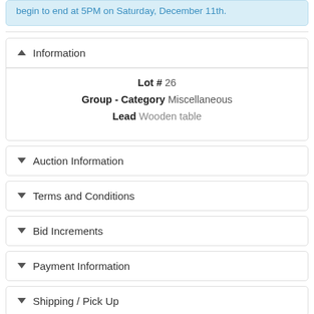begin to end at 5PM on Saturday, December 11th.
Information
Lot # 26
Group - Category Miscellaneous
Lead Wooden table
Auction Information
Terms and Conditions
Bid Increments
Payment Information
Shipping / Pick Up